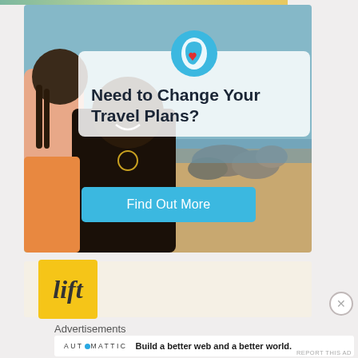[Figure (photo): Travel advertisement banner with beach background showing two people smiling, with overlay box containing globe/heart icon, headline 'Need to Change Your Travel Plans?' and a cyan 'Find Out More' button]
[Figure (logo): Lift brand logo - yellow square with italic 'lift' script text in dark color]
Advertisements
[Figure (logo): Automattic logo with blue circle and tagline: Build a better web and a better world.]